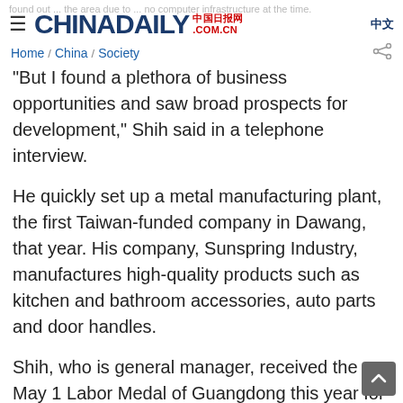CHINADAILY 中国日报网 .COM.CN 中文
...found out ... the area due to ... no computer infrastructure at the time.
Home / China / Society
"But I found a plethora of business opportunities and saw broad prospects for development," Shih said in a telephone interview.
He quickly set up a metal manufacturing plant, the first Taiwan-funded company in Dawang, that year. His company, Sunspring Industry, manufactures high-quality products such as kitchen and bathroom accessories, auto parts and door handles.
Shih, who is general manager, received the May 1 Labor Medal of Guangdong this year for his positive contributions to boosting economic and cultural exchange and cooperation between Guangdong and Taiwan, and